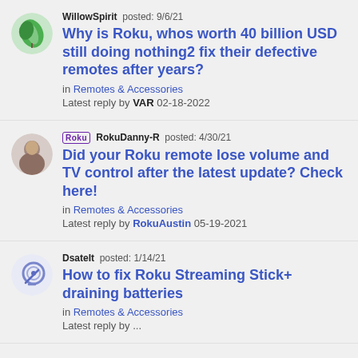WillowSpirit posted: 9/6/21 — Why is Roku, whos worth 40 billion USD still doing nothing2 fix their defective remotes after years? in Remotes & Accessories. Latest reply by VAR 02-18-2022
Roku RokuDanny-R posted: 4/30/21 — Did your Roku remote lose volume and TV control after the latest update? Check here! in Remotes & Accessories. Latest reply by RokuAustin 05-19-2021
DsateIt posted: 1/14/21 — How to fix Roku Streaming Stick+ draining batteries in Remotes & Accessories. Latest reply by ...